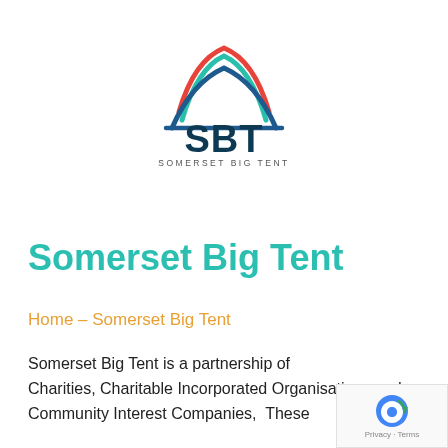[Figure (logo): Somerset Big Tent (SBT) logo with tent-like arches in red, teal/green, and blue above the bold dark teal letters SBT, with 'SOMERSET BIG TENT' in small caps below]
Somerset Big Tent
Home – Somerset Big Tent
Somerset Big Tent is a partnership of Charities, Charitable Incorporated Organisations and Community Interest Companies,  These